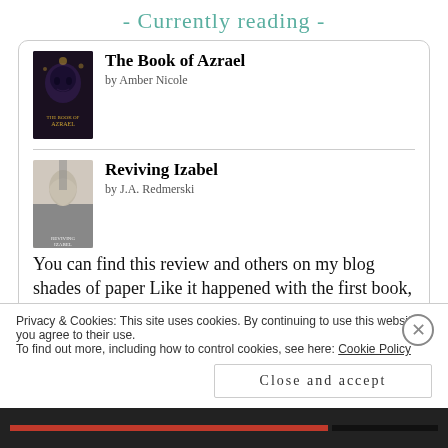- Currently reading -
[Figure (illustration): Book cover for 'The Book of Azrael' — dark purple/black cover with skull imagery]
The Book of Azrael
by Amber Nicole
[Figure (illustration): Book cover for 'Reviving Izabel' — black and white cover with a person's face]
Reviving Izabel
by J.A. Redmerski
You can find this review and others on my blog shades of paper Like it happened with the first book, I decided to re-read this one so I could decide if I wanted to continue with the rest of the
Privacy & Cookies: This site uses cookies. By continuing to use this website, you agree to their use.
To find out more, including how to control cookies, see here: Cookie Policy
Close and accept